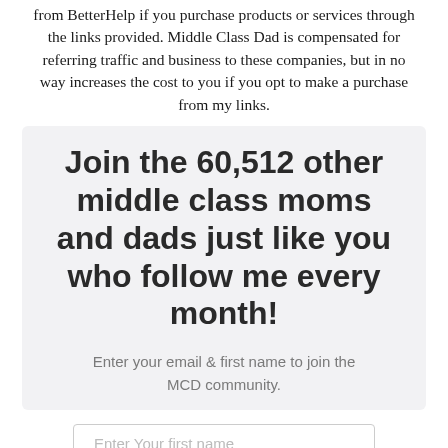from BetterHelp if you purchase products or services through the links provided. Middle Class Dad is compensated for referring traffic and business to these companies, but in no way increases the cost to you if you opt to make a purchase from my links.
Join the 60,512 other middle class moms and dads just like you who follow me every month!
Enter your email & first name to join the MCD community.
Enter Your first name